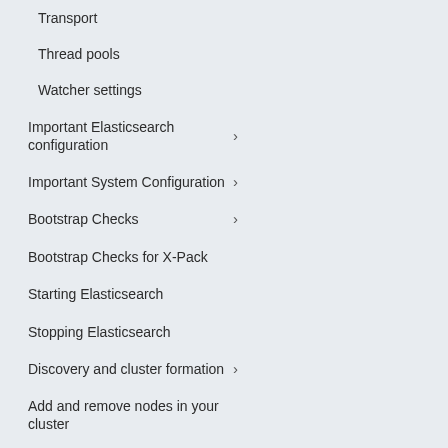Transport
Thread pools
Watcher settings
Important Elasticsearch configuration
Important System Configuration
Bootstrap Checks
Bootstrap Checks for X-Pack
Starting Elasticsearch
Stopping Elasticsearch
Discovery and cluster formation
Add and remove nodes in your cluster
Full-cluster restart and rolling restart
Remote clusters